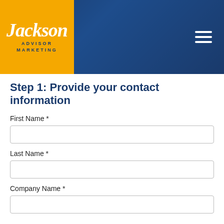[Figure (logo): Jackson Advisor Marketing logo — yellow/gold square with white italic 'Jackson' script and dark blue 'ADVISOR MARKETING' text below, set against a dark blue gradient header bar with a hamburger menu icon on the right]
Step 1: Provide your contact information
First Name *
Last Name *
Company Name *